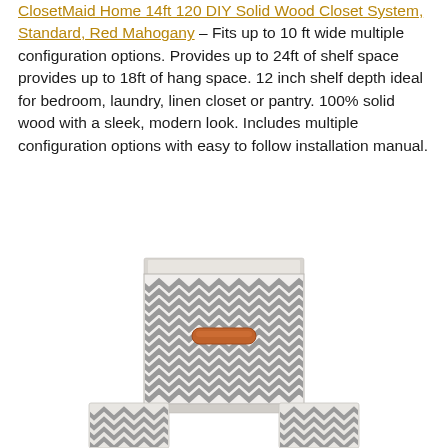ClosetMaid Home 14ft 120 DIY Solid Wood Closet System, Standard, Red Mahogany – Fits up to 10 ft wide multiple configuration options. Provides up to 24ft of shelf space provides up to 18ft of hang space. 12 inch shelf depth ideal for bedroom, laundry, linen closet or pantry. 100% solid wood with a sleek, modern look. Includes multiple configuration options with easy to follow installation manual.
[Figure (photo): A fabric storage cube/basket with gray and white chevron zigzag pattern and an orange/brown leather handle, shown from above at a slight angle with two similar items partially visible at the bottom corners.]